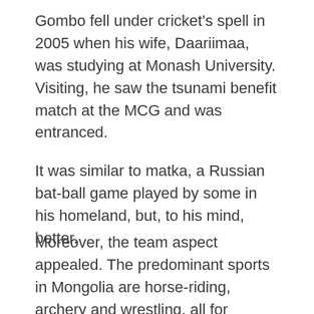Gombo fell under cricket's spell in 2005 when his wife, Daariimaa, was studying at Monash University. Visiting, he saw the tsunami benefit match at the MCG and was entranced.
It was similar to matka, a Russian bat-ball game played by some in his homeland, but, to his mind, better.
Moreover, the team aspect appealed. The predominant sports in Mongolia are horse-riding, archery and wrestling, all for individuals. Gombo was himself a national judo champion.
Dimly, he discerned in cricket's